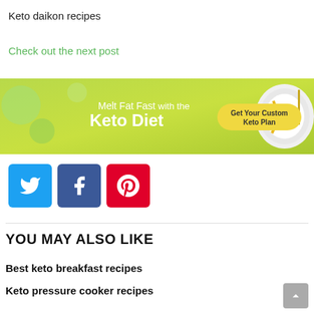Keto daikon recipes
Check out the next post
[Figure (infographic): Advertisement banner for Keto Diet: 'Melt Fat Fast with the Keto Diet' with a 'Get Your Custom Keto Plan' button on a green background with a plate and fork image]
[Figure (infographic): Social media share buttons: Twitter (blue), Facebook (dark blue), Pinterest (red)]
YOU MAY ALSO LIKE
Best keto breakfast recipes
Keto pressure cooker recipes